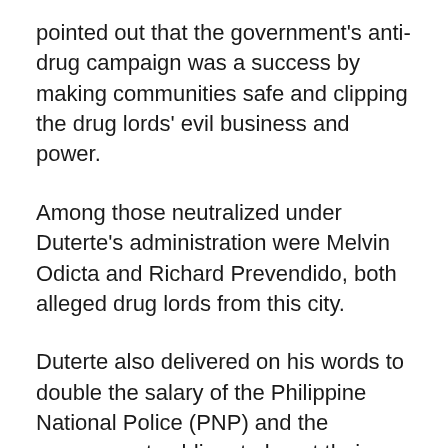pointed out that the government's anti-drug campaign was a success by making communities safe and clipping the drug lords' evil business and power.
Among those neutralized under Duterte's administration were Melvin Odicta and Richard Prevendido, both alleged drug lords from this city.
Duterte also delivered on his words to double the salary of the Philippine National Police (PNP) and the government soldiers to boost their morale, which the men in uniform, rightfully deserve, the mayor said.